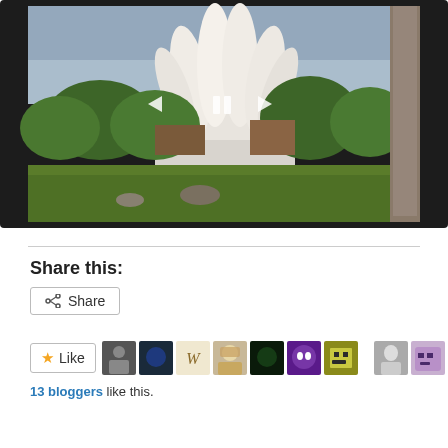[Figure (photo): Slideshow/image viewer showing the Lotus Temple in New Delhi with white petal-shaped architecture, surrounded by green trees and grass, with a palm tree on the right side and navigation controls (back arrow, pause, forward arrow) overlaid in the center.]
Share this:
Share
Like
13 bloggers like this.